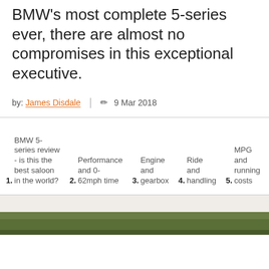BMW's most complete 5-series ever, there are almost no compromises in this exceptional executive.
by: James Disdale  |  9 Mar 2018
1. BMW 5-series review - is this the best saloon in the world?
2. Performance and 0-62mph time
3. Engine and gearbox
4. Ride and handling
5. MPG and running costs
[Figure (photo): Partial photo strip at bottom of page showing green foliage]